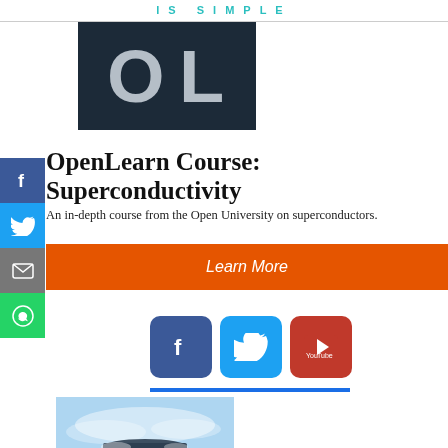IS SIMPLE
[Figure (logo): OL logo block on dark navy background]
OpenLearn Course: Superconductivity
An in-depth course from the Open University on superconductors.
[Figure (infographic): Orange Learn More call-to-action button bar]
[Figure (infographic): Social sharing icons row: Facebook, Twitter, YouTube]
[Figure (photo): Photograph of a superconducting disc levitating above a surface with liquid nitrogen mist]